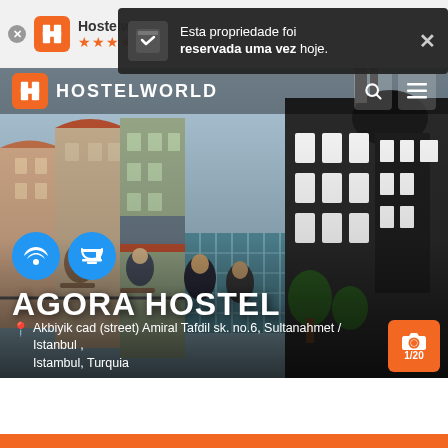[Figure (screenshot): Hostelworld mobile app browser bar with logo, stars rating, and a dark notification popup: 'Esta propriedade foi reservada uma vez hoje.' with close X button]
[Figure (photo): Aerial/rooftop photo of Agora Hostel in Istanbul showing surrounding buildings, rooftop terrace with people dining, and a distinctive dark building with bay windows. Hostelworld navigation bar overlaid on top with logo, search and menu icons. WiFi and breakfast amenity icons visible. Large hostel name 'AGORA HOSTEL' in white bold text. Address and camera/photo count button visible.]
AGORA HOSTEL
Akbiyik cad (street) Amiral Tafdil sk. no.6, Sultanahmet / Istanbul , Istambul, Turquia
Esta propriedade foi reservada uma vez hoje.
1/20